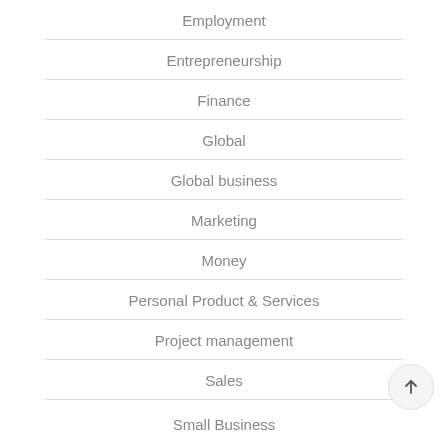Employment
Entrepreneurship
Finance
Global
Global business
Marketing
Money
Personal Product & Services
Project management
Sales
Small Business